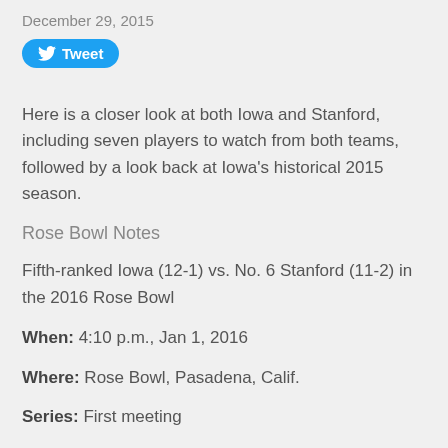December 29, 2015
[Figure (other): Twitter Tweet button with bird logo]
Here is a closer look at both Iowa and Stanford, including seven players to watch from both teams, followed by a look back at Iowa's historical 2015 season.
Rose Bowl Notes
Fifth-ranked Iowa (12-1) vs. No. 6 Stanford (11-2) in the 2016 Rose Bowl
When: 4:10 p.m., Jan 1, 2016
Where: Rose Bowl, Pasadena, Calif.
Series: First meeting
Head coaches: Kirk Ferentz is in his 17th season as the